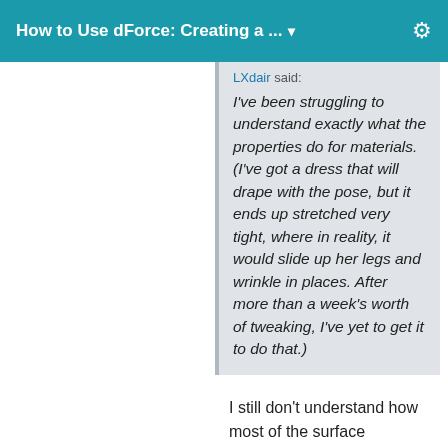How to Use dForce: Creating a ... ▾
LXdair said:
I've been struggling to understand exactly what the properties do for materials. (I've got a dress that will drape with the pose, but it ends up stretched very tight, where in reality, it would slide up her legs and wrinkle in places. After more than a week's worth of tweaking, I've yet to get it to do that.)
I still don't understand how most of the surface properties work. A few have